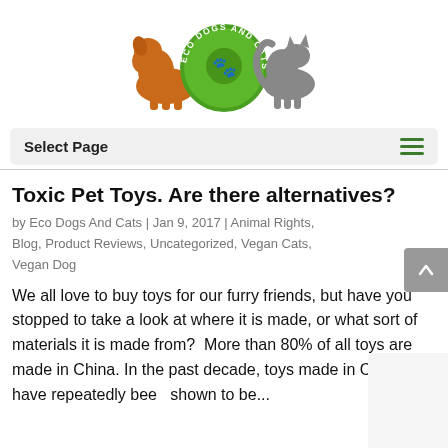[Figure (logo): Eco Dogs And Cats logo — green circular badge with dog and cat silhouettes on either side]
Select Page
Toxic Pet Toys. Are there alternatives?
by Eco Dogs And Cats | Jan 9, 2017 | Animal Rights, Blog, Product Reviews, Uncategorized, Vegan Cats, Vegan Dog
We all love to buy toys for our furry friends, but have you stopped to take a look at where it is made, or what sort of materials it is made from?  More than 80% of all toys are made in China. In the past decade, toys made in China, have repeatedly been shown to be...